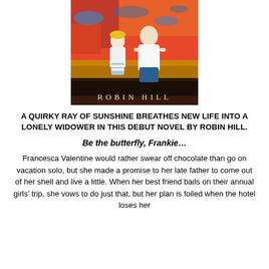[Figure (illustration): Book cover painting showing two figures (a woman in white top and a child) sitting together on a beach or shore with colorful abstract background in reds, oranges, and blues. Text at bottom reads 'ROBIN HILL' in spaced white letters.]
A QUIRKY RAY OF SUNSHINE BREATHES NEW LIFE INTO A LONELY WIDOWER IN THIS DEBUT NOVEL BY ROBIN HILL.
Be the butterfly, Frankie…
Francesca Valentine would rather swear off chocolate than go on vacation solo, but she made a promise to her late father to come out of her shell and live a little. When her best friend bails on their annual girls' trip, she vows to do just that, but her plan is foiled when the hotel loses her